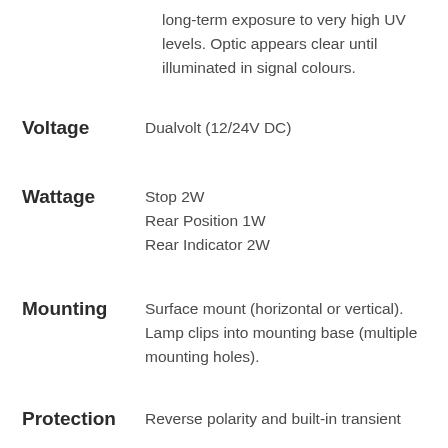long-term exposure to very high UV levels. Optic appears clear until illuminated in signal colours.
Voltage
Dualvolt (12/24V DC)
Wattage
Stop 2W
Rear Position 1W
Rear Indicator 2W
Mounting
Surface mount (horizontal or vertical). Lamp clips into mounting base (multiple mounting holes).
Protection
Reverse polarity and built-in transient